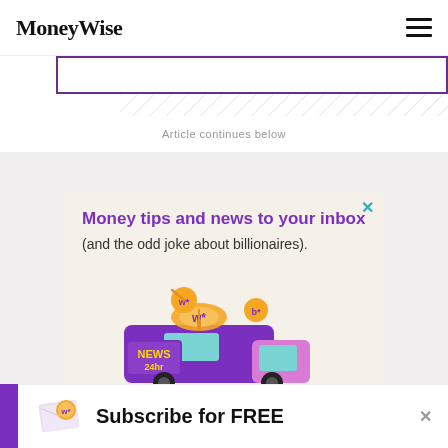MoneyWise
Article continues below
[Figure (infographic): MoneyWise newsletter advertisement with purple/beige background showing a cartoon news van with 'NEWS 24hr' text, satellite dishes, and coin characters on top. Headline: 'Money tips and news to your inbox (and the odd joke about billionaires).']
Subscribe for FREE